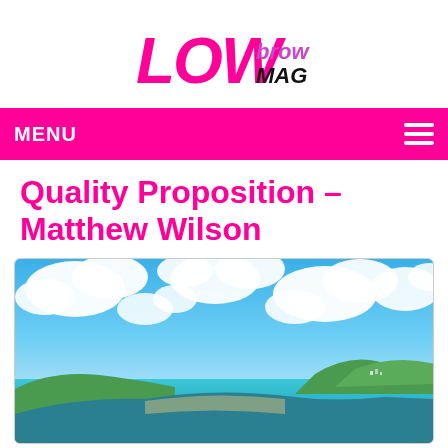Lowbrow Mag logo
MENU
Quality Proposition – Matthew Wilson
[Figure (photo): Coastal landscape photograph showing a sweeping bay with turquoise sea, green hillsides, white sandy beach, small coastal town in the distance, and a bright blue sky filled with large white cumulus clouds.]